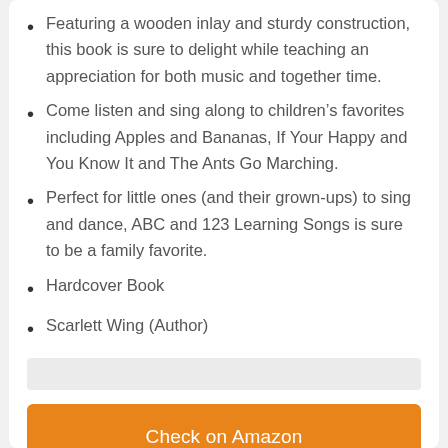Featuring a wooden inlay and sturdy construction, this book is sure to delight while teaching an appreciation for both music and together time.
Come listen and sing along to children’s favorites including Apples and Bananas, If Your Happy and You Know It and The Ants Go Marching.
Perfect for little ones (and their grown-ups) to sing and dance, ABC and 123 Learning Songs is sure to be a family favorite.
Hardcover Book
Scarlett Wing (Author)
Check on Amazon